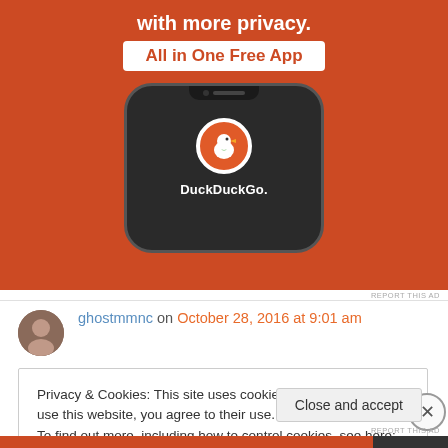[Figure (screenshot): DuckDuckGo advertisement on orange background showing a mobile phone with DuckDuckGo app logo and text 'with more privacy. All in One Free App']
REPORT THIS AD
ghostmmnc on October 28, 2016 at 9:01 am
Privacy & Cookies: This site uses cookies. By continuing to use this website, you agree to their use.
To find out more, including how to control cookies, see here: Cookie Policy
Close and accept